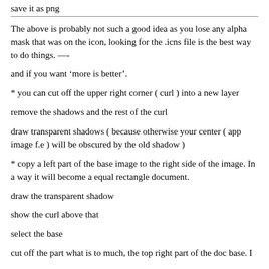save it as png
The above is probably not such a good idea as you lose any alpha mask that was on the icon, looking for the .icns file is the best way to do things. —-
and if you want ‘more is better’.
* you can cut off the upper right corner ( curl ) into a new layer
remove the shadows and the rest of the curl
draw transparent shadows ( because otherwise your center ( app image f.e ) will be obscured by the old shadow )
* copy a left part of the base image to the right side of the image. In a way it will become a equal rectangle document.
draw the transparent shadow
show the curl above that
select the base
cut off the part what is to much, the top right part of the doc base. I